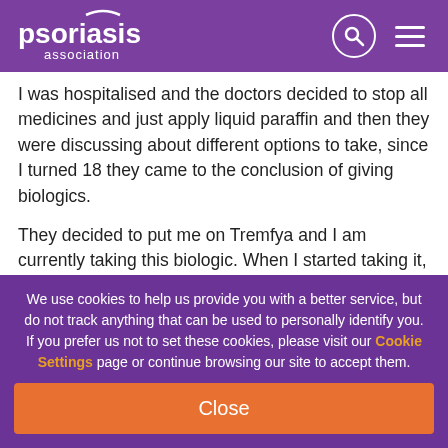psoriasis association
I was hospitalised and the doctors decided to stop all medicines and just apply liquid paraffin and then they were discussing about different options to take, since I turned 18 they came to the conclusion of giving biologics.
They decided to put me on Tremfya and I am currently taking this biologic. When I started taking it, within two days my psoriasis began to reduce and slowly I was able to move my legs, and within a week I was able to walk again.
We use cookies to help us provide you with a better service, but do not track anything that can be used to personally identify you. If you prefer us not to set these cookies, please visit our Cookie Settings page or continue browsing our site to accept them.
Close